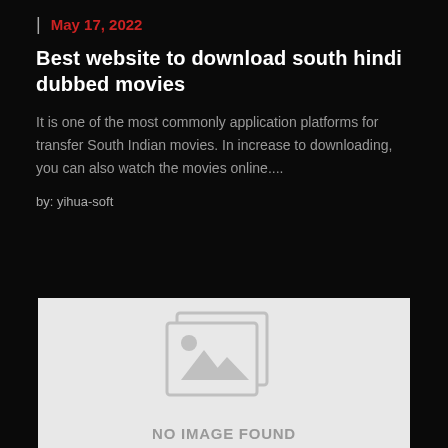| May 17, 2022
Best website to download south hindi dubbed movies
It is one of the most commonly application platforms for transfer South Indian movies. In increase to downloading, you can also watch the movies online....
by: yihua-soft
[Figure (other): Placeholder image with 'NO IMAGE FOUND' text on a light grey background]